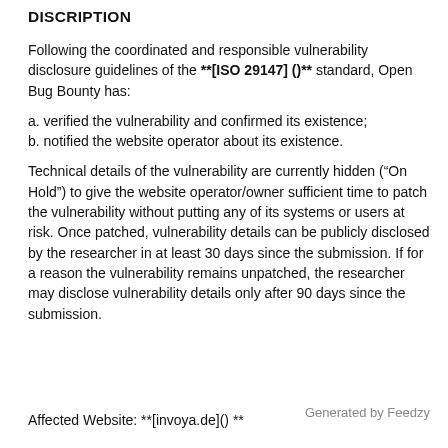DISCRIPTION
Following the coordinated and responsible vulnerability disclosure guidelines of the **[ISO 29147]()**  standard, Open Bug Bounty has:
a. verified the vulnerability and confirmed its existence;
b. notified the website operator about its existence.
Technical details of the vulnerability are currently hidden (“On Hold”) to give the website operator/owner sufficient time to patch the vulnerability without putting any of its systems or users at risk. Once patched, vulnerability details can be publicly disclosed by the researcher in at least 30 days since the submission. If for a reason the vulnerability remains unpatched, the researcher may disclose vulnerability details only after 90 days since the submission.
Generated by Feedzy
Affected Website: **[invoya.de]()**  **